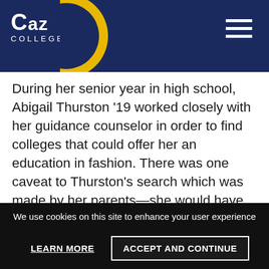CAZ COLLEGE
During her senior year in high school, Abigail Thurston ’19 worked closely with her guidance counselor in order to find colleges that could offer her an education in fashion. There was one caveat to Thurston’s search which was made by her parents—she would have to hold off on the Fashion Institute of Technology (FIT) in New York City until her junior year. Thurston shares, “Originally, I looked into FIT, but I graduated high school at only 17, so my parents were a little hesitant to let me move to
We use cookies on this site to enhance your user experience | LEARN MORE | ACCEPT AND CONTINUE